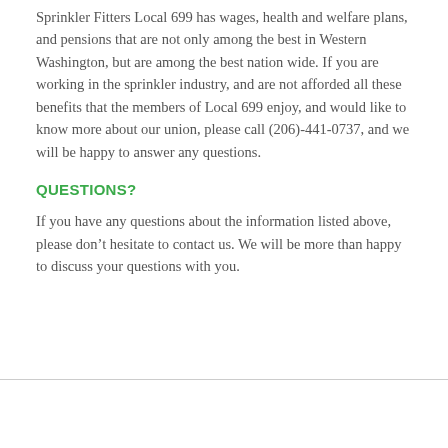Sprinkler Fitters Local 699 has wages, health and welfare plans, and pensions that are not only among the best in Western Washington, but are among the best nation wide. If you are working in the sprinkler industry, and are not afforded all these benefits that the members of Local 699 enjoy, and would like to know more about our union, please call (206)-441-0737, and we will be happy to answer any questions.
QUESTIONS?
If you have any questions about the information listed above, please don’t hesitate to contact us. We will be more than happy to discuss your questions with you.